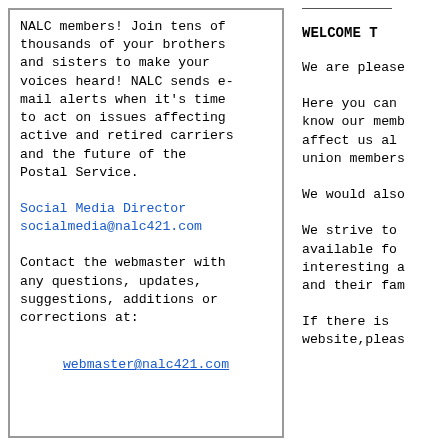NALC members! Join tens of thousands of your brothers and sisters to make your voices heard! NALC sends e-mail alerts when it's time to act on issues affecting active and retired carriers and the future of the Postal Service.
Social Media Director
socialmedia@nalc421.com
Contact the webmaster with any questions, updates, suggestions, additions or corrections at:
webmaster@nalc421.com
WELCOME T
We are please
Here you can know our memb affect us al union members
We would also
We strive to available fo interesting a and their fam
If there is website,pleas